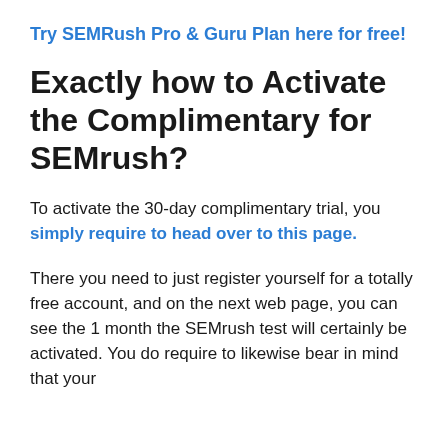Try SEMRush Pro & Guru Plan here for free!
Exactly how to Activate the Complimentary for SEMrush?
To activate the 30-day complimentary trial, you simply require to head over to this page.
There you need to just register yourself for a totally free account, and on the next web page, you can see the 1 month the SEMrush test will certainly be activated. You do require to likewise bear in mind that your